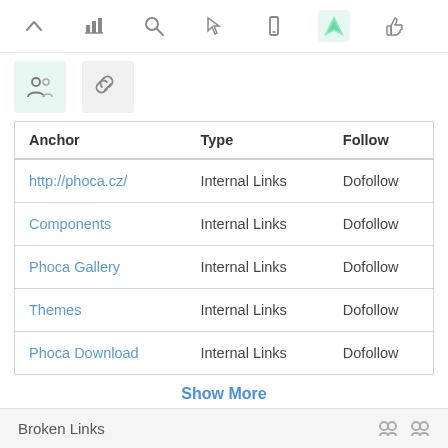[Figure (screenshot): Top navigation toolbar with icons: chevron up, bar chart, search/magnifier, cursor/pointer, mobile phone, navigation/location arrow (active/highlighted), thumbs up]
[Figure (screenshot): Second toolbar row with two icon buttons: people/group icon (active, highlighted green) and chain/link icon]
| Anchor | Type | Follow |
| --- | --- | --- |
| http://phoca.cz/ | Internal Links | Dofollow |
| Components | Internal Links | Dofollow |
| Phoca Gallery | Internal Links | Dofollow |
| Themes | Internal Links | Dofollow |
| Phoca Download | Internal Links | Dofollow |
Show More
Broken Links